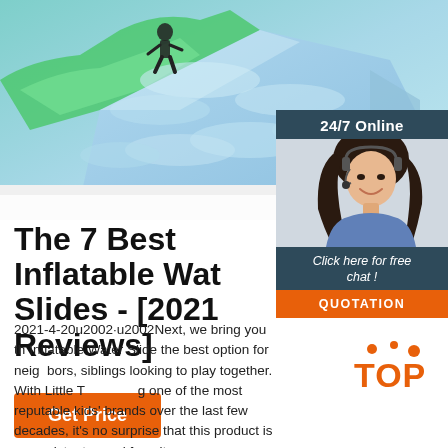[Figure (photo): Colorful inflatable water slide structure (green, teal, blue tones) with a silhouette of a person walking on top. Occupies the top portion of the page.]
[Figure (photo): Sidebar widget showing a smiling woman wearing a headset, with '24/7 Online' header, 'Click here for free chat!' text, and an orange QUOTATION button.]
The 7 Best Inflatable Water Slides - [2021 Reviews]
2021-4-20u2002·u2002Next, we bring you the Inflatable Water Slide the best option for neighbors, siblings looking to play together. With Little Tikes being one of the most reputable kids' brands over the last few decades, it's no surprise that this product is a consistent crowd favorite.
[Figure (logo): Orange 'TOP' badge with decorative dots above the letters.]
Get Price